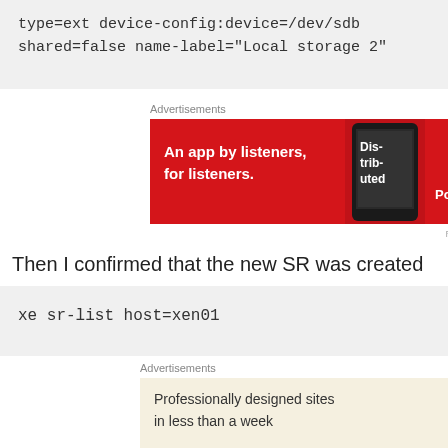type=ext device-config:device=/dev/sdb shared=false name-label="Local storage 2"
[Figure (other): Red Pocket Casts advertisement banner: 'An app by listeners, for listeners.' with phone image and Pocket Casts logo]
Then I confirmed that the new SR was created
xe sr-list host=xen01
[Figure (other): WordPress advertisement banner: 'Professionally designed sites in less than a week' with WordPress logo on cream background]